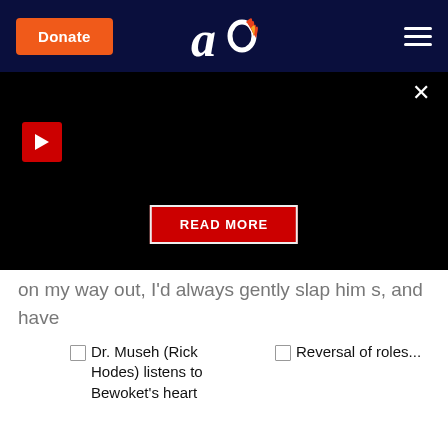[Figure (screenshot): Website header with dark navy background containing an orange 'Donate' button on the left, an 'ao' logo with flame icon in the center, and a hamburger menu icon on the right.]
[Figure (screenshot): Black video/media area with a red close X button top-right, a red play button top-left, and a red 'READ MORE' button centered near the bottom.]
on my way out, I'd always gently slap him s, and have him slap me in return. Then I briefly pray for his recovery.
[Figure (photo): Thumbnail image placeholder for 'Dr. Museh (Rick Hodes) listens to Bewoket's heart']
Dr. Museh (Rick Hodes) listens to Bewoket's heart
[Figure (photo): Thumbnail image placeholder for 'Reversal of roles...']
Reversal of roles...